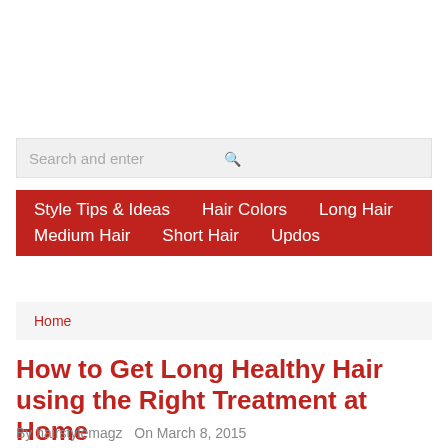Search and enter
Style Tips & Ideas   Hair Colors   Long Hair   Medium Hair   Short Hair   Updos
Home
How to Get Long Healthy Hair using the Right Treatment at Home
By hairstylemagz    On March 8, 2015